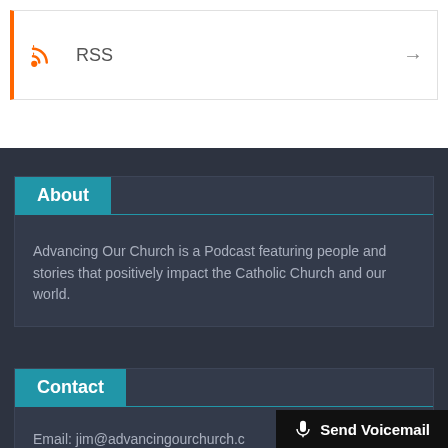[Figure (other): RSS feed row with orange RSS icon, RSS text, and right arrow]
About
Advancing Our Church is a Podcast featuring people and stories that positively impact the Catholic Church and our world.
Contact
Email: jim@advancingourchurch.c
[Figure (other): Send Voicemail button with microphone icon]